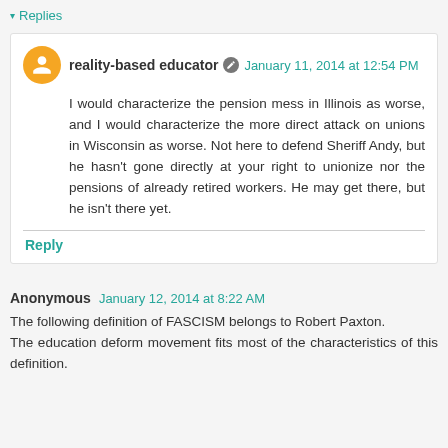▾ Replies
reality-based educator  January 11, 2014 at 12:54 PM
I would characterize the pension mess in Illinois as worse, and I would characterize the more direct attack on unions in Wisconsin as worse. Not here to defend Sheriff Andy, but he hasn't gone directly at your right to unionize nor the pensions of already retired workers. He may get there, but he isn't there yet.
Reply
Anonymous  January 12, 2014 at 8:22 AM
The following definition of FASCISM belongs to Robert Paxton.
The education deform movement fits most of the characteristics of this definition.